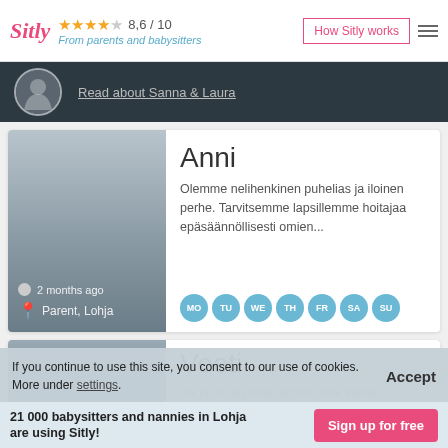Sitly — From parents and babysitters — 8,6 / 10 — How Sitly works
Read about Sanna & Laura
Anni
Olemme nelihenkinen puhelias ja iloinen perhe. Tarvitsemme lapsillemme hoitajaa epäsäännöllisesti omien...
2 months ago
Parent, Lohja
MO TU WE TH FR SA SU
Veeti
Isä ja äiti ja poika tarpeen tulle vahtia...
If you continue to use this site, you consent to our use of cookies. More under settings.
Accept
21 000 babysitters and nannies in Lohja are using Sitly!
Sign up for free